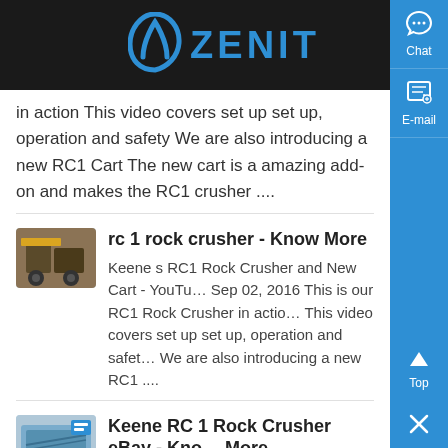ZENIT
in action This video covers set up set up, operation and safety We are also introducing a new RC1 Cart The new cart is a amazing add-on and makes the RC1 crusher ....
rc 1 rock crusher - Know More
Keene s RC1 Rock Crusher and New Cart - YouTube Sep 02, 2016 This is our RC1 Rock Crusher in action This video covers set up set up, operation and safety We are also introducing a new RC1 ....
Keene RC 1 Rock Crusher eBay - Know More
Find best value and selection for your Keene RC 1 Rock Crusher search on eBay...